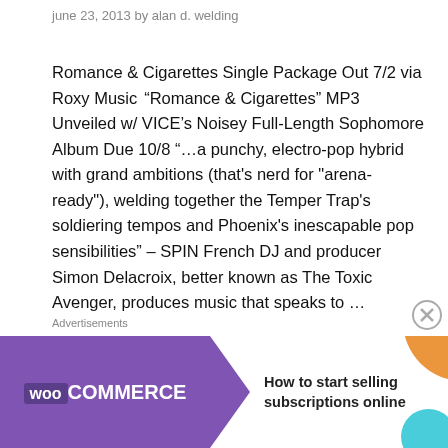june 23, 2013 by alan d. welding
Romance & Cigarettes Single Package Out 7/2 via Roxy Music “Romance & Cigarettes” MP3 Unveiled w/ VICE’s Noisey Full-Length Sophomore Album Due 10/8 “…a punchy, electro-pop hybrid with grand ambitions (that's nerd for "arena-ready"), welding together the Temper Trap's soldiering tempos and Phoenix's inescapable pop sensibilities” – SPIN French DJ and producer Simon Delacroix, better known as The Toxic Avenger, produces music that speaks to …
Continue reading
SHARE THIS:
[Figure (other): WooCommerce advertisement banner: purple background with WooCommerce logo and arrow, text 'How to start selling subscriptions online', orange and blue decorative elements in the corner]